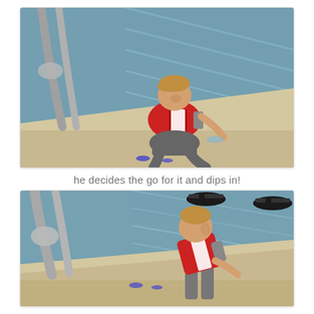[Figure (photo): A young boy in a red and white rash guard sits at the edge of a swimming pool, looking down at the water. Pool lane dividers and metal handrails are visible in the background.]
he decides the go for it and dips in!
[Figure (photo): The same young boy in a red and white rash guard is now standing at the pool edge, leaning forward as if about to jump in. An adult wearing flip-flops stands nearby. Pool handrails and blue water are visible.]